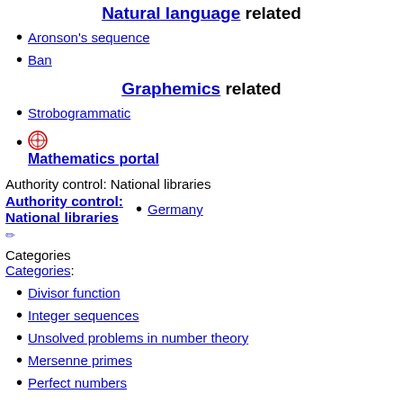Natural language related
Aronson's sequence
Ban
Graphemics related
Strobogrammatic
Mathematics portal
Authority control: National libraries
Authority control: National libraries
Germany
Categories
Categories:
Divisor function
Integer sequences
Unsolved problems in number theory
Mersenne primes
Perfect numbers